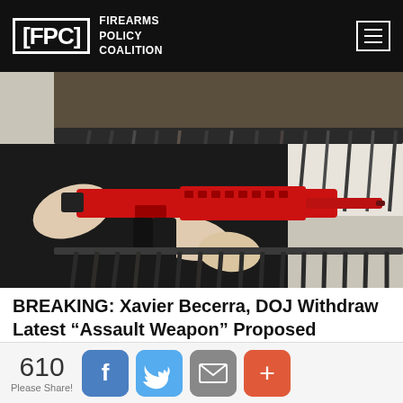Firearms Policy Coalition
[Figure (photo): Person in black shirt holding a bright red AR-style rifle with a black magazine, standing in front of a wall rack filled with many rifles and firearms in a gun store]
BREAKING: Xavier Becerra, DOJ Withdraw Latest “Assault Weapon” Proposed Regulation After Strong Opposition from FPC, Gun Groups
610 Please Share!